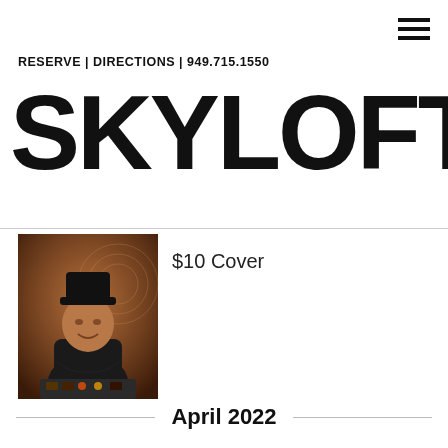RESERVE | DIRECTIONS | 949.715.1550
SKYLOFT
[Figure (photo): Portrait photo of a DJ or performer wearing dark clothing and a hat, standing in front of a decorative background]
$10 Cover
April 2022